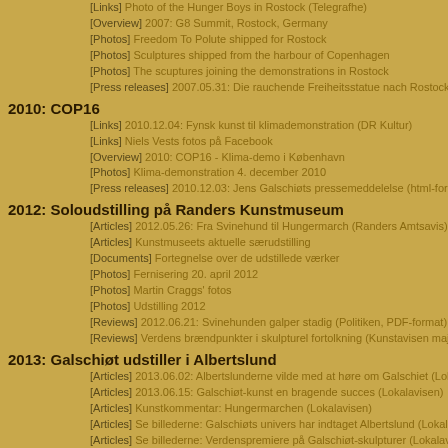[Links] Photo of the Hunger Boys in Rostock (Telegrafhe)
[Overview] 2007: G8 Summit, Rostock, Germany
[Photos] Freedom To Polute shipped for Rostock
[Photos] Sculptures shipped from the harbour of Copenhagen
[Photos] The scuptures joining the demonstrations in Rostock
[Press releases] 2007.05.31: Die rauchende Freiheitsstatue nach Rostock ve
2010: COP16
[Links] 2010.12.04: Fynsk kunst til klimademonstration (DR Kultur)
[Links] Niels Vests fotos på Facebook
[Overview] 2010: COP16 - Klima-demo i København
[Photos] Klima-demonstration 4. december 2010
[Press releases] 2010.12.03: Jens Galschiøts pressemeddelelse (html-forma
2012: Soloudstilling på Randers Kunstmuseum
[Articles] 2012.05.26: Fra Svinehund til Hungermarch (Randers Amtsavis)
[Articles] Kunstmuseets aktuelle særudstilling
[Documents] Fortegnelse over de udstilledeværker
[Photos] Fernisering 20. april 2012
[Photos] Martin Craggs' fotos
[Photos] Udstilling 2012
[Reviews] 2012.06.21: Svinehunden galper stadig (Politiken, PDF-format)
[Reviews] Verdens brændpunkter i skulpturel fortolkning (Kunstavisen maj/jü
2013: Galschiøt udstiller i Albertslund
[Articles] 2013.06.02: Albertslunderne vilde med at høre om Galschiet (Loka
[Articles] 2013.06.15: Galschiøt-kunst en bragende succes (Lokalavisen)
[Articles] Kunstkommentar: Hungermarchen (Lokalavisen)
[Articles] Se billederne: Galschiøts univers har indtaget Albertslund (Lokalav
[Articles] Se billederne: Verdenspremiere på Galschiøt-skulpturer (Lokalavis
[Documents] Invitation (PDF-format)
[Documents] Program for udstillingen (PDF-format, 1 MB)
[Documents] Skulpturelie opråb i Albertslund
[Overview] 2013: Galschiøt udstiller i Albertslund
2013: Informations-kampagne om ´Fundamentalism´